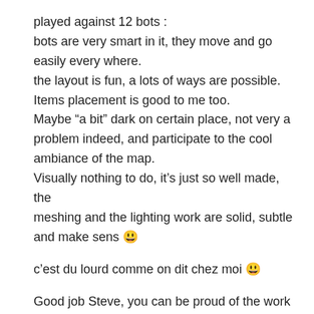played against 12 bots :
bots are very smart in it, they move and go easily every where.
the layout is fun, a lots of ways are possible.
Items placement is good to me too.
Maybe “a bit” dark on certain place, not very a problem indeed, and participate to the cool ambiance of the map.
Visually nothing to do, it’s just so well made, the meshing and the lighting work are solid, subtle and make sens 😃
c’est du lourd comme on dit chez moi 😃
Good job Steve, you can be proud of the work you have done on this one !